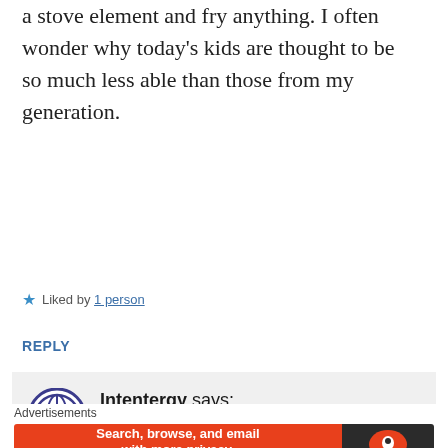a stove element and fry anything. I often wonder why today's kids are thought to be so much less able than those from my generation.
Liked by 1 person
REPLY
Intentergy says: MAY 8, 2017 AT 8:38 PM
I know! We preach
Advertisements
[Figure (screenshot): DuckDuckGo advertisement banner: orange left section reading 'Search, browse, and email with more privacy. All in One Free App', dark right section with DuckDuckGo logo.]